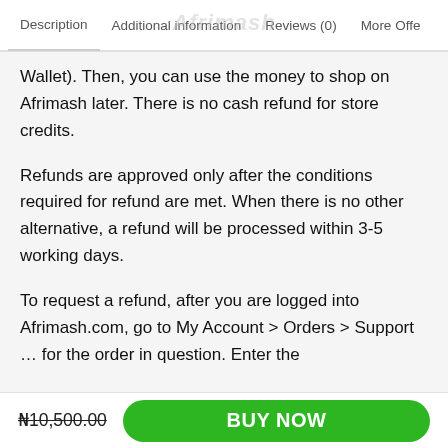Description | Additional information | Reviews (0) | More Offe
Wallet). Then, you can use the money to shop on Afrimash later. There is no cash refund for store credits.
Refunds are approved only after the conditions required for refund are met. When there is no other alternative, a refund will be processed within 3-5 working days.
To request a refund, after you are logged into Afrimash.com, go to My Account > Orders > Support … for the order in question. Enter the
₦10,500.00  BUY NOW